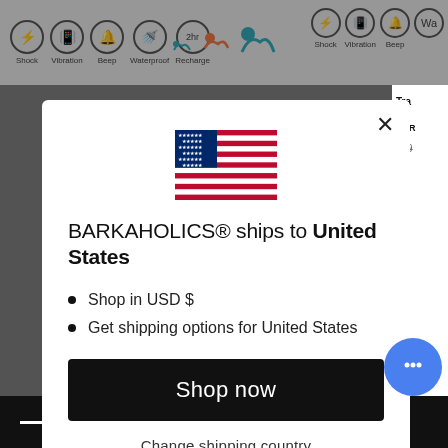[Figure (screenshot): Background of a shopping website with icon bar at top (Shock, Vibration, Beep, Waterproof, Recharge icons) and dog size icons in center.]
[Figure (illustration): US flag emoji displayed in center of modal dialog]
BARKAHOLICS® ships to United States
Shop in USD $
Get shipping options for United States
Shop now
Change shipping country